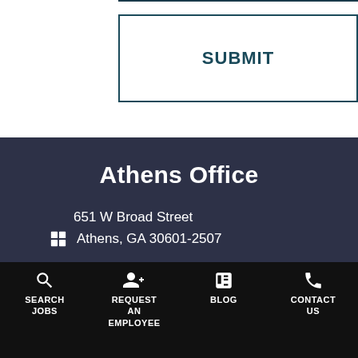SUBMIT
Athens Office
651 W Broad Street
Athens, GA 30601-2507
Directions
SEARCH JOBS | REQUEST AN EMPLOYEE | BLOG | CONTACT US